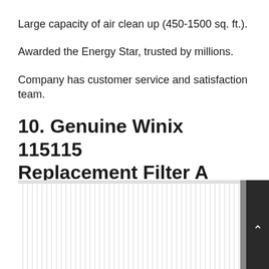Large capacity of air clean up (450-1500 sq. ft.).
Awarded the Energy Star, trusted by millions.
Company has customer service and satisfaction team.
10. Genuine Winix 115115 Replacement Filter A
Our rating: 8 / 10
[Figure (photo): Photo of Genuine Winix 115115 Replacement Filter A — a white pleated flat-panel filter with a black handle/strap on the right side, shown from the front at the bottom of the page.]